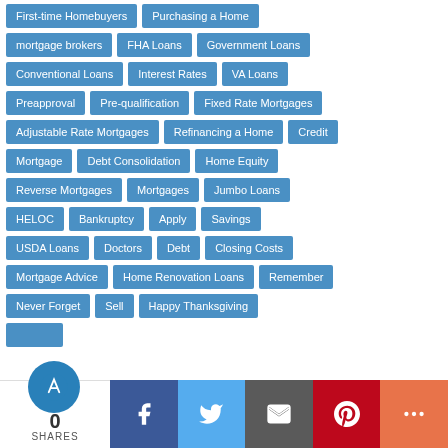First-time Homebuyers
Purchasing a Home
mortgage brokers
FHA Loans
Government Loans
Conventional Loans
Interest Rates
VA Loans
Preapproval
Pre-qualification
Fixed Rate Mortgages
Adjustable Rate Mortgages
Refinancing a Home
Credit
Mortgage
Debt Consolidation
Home Equity
Reverse Mortgages
Mortgages
Jumbo Loans
HELOC
Bankruptcy
Apply
Savings
USDA Loans
Doctors
Debt
Closing Costs
Mortgage Advice
Home Renovation Loans
Remember
Never Forget
Sell
Happy Thanksgiving